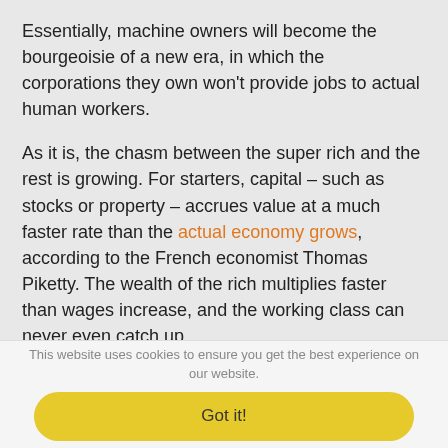Essentially, machine owners will become the bourgeoisie of a new era, in which the corporations they own won't provide jobs to actual human workers.
As it is, the chasm between the super rich and the rest is growing. For starters, capital – such as stocks or property – accrues value at a much faster rate than the actual economy grows, according to the French economist Thomas Piketty. The wealth of the rich multiplies faster than wages increase, and the working class can never even catch up.
But if Hawking is right, the problem won't be about catching
This website uses cookies to ensure you get the best experience on our website. Got it!